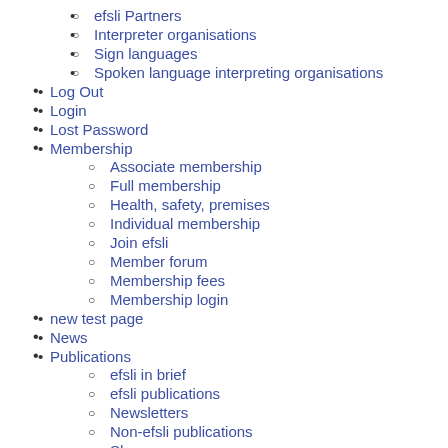efsli Partners
Interpreter organisations
Sign languages
Spoken language interpreting organisations
Log Out
Login
Lost Password
Membership
Associate membership
Full membership
Health, safety, premises
Individual membership
Join efsli
Member forum
Membership fees
Membership login
new test page
News
Publications
efsli in brief
efsli publications
Newsletters
Non-efsli publications
Shop